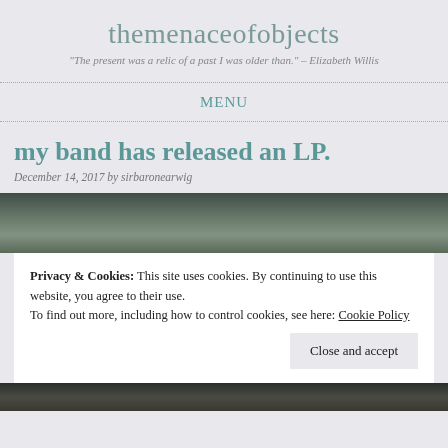themenaceofobjects
"The present was a relic of a past I was older than." – Elizabeth Willis
MENU
my band has released an LP.
December 14, 2017 by sirbaronearwig
[Figure (photo): Dark toned photo strip at the top of a blog post]
Privacy & Cookies: This site uses cookies. By continuing to use this website, you agree to their use.
To find out more, including how to control cookies, see here: Cookie Policy
Close and accept
[Figure (photo): Dark toned photo strip at the bottom]